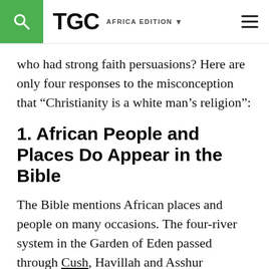TGC  AFRICA EDITION
who had strong faith persuasions? Here are only four responses to the misconception that “Christianity is a white man’s religion”:
1. African People and Places Do Appear in the Bible
The Bible mentions African places and people on many occasions. The four-river system in the Garden of Eden passed through Cush, Havillah and Asshur (Genesis 2:10-14). These would be near modern-day Sudan, Ethiopia, and Eritrea.
Some of the African people mentioned